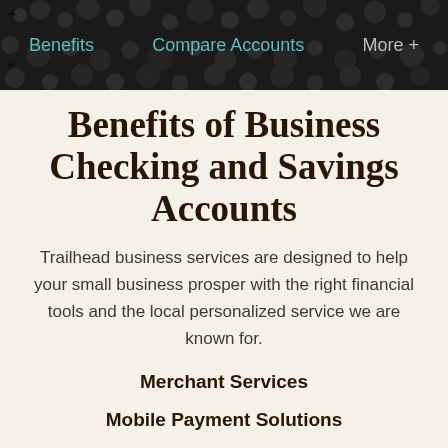Benefits   Compare Accounts   More +
Benefits of Business Checking and Savings Accounts
Trailhead business services are designed to help your small business prosper with the right financial tools and the local personalized service we are known for.
Merchant Services
Mobile Payment Solutions